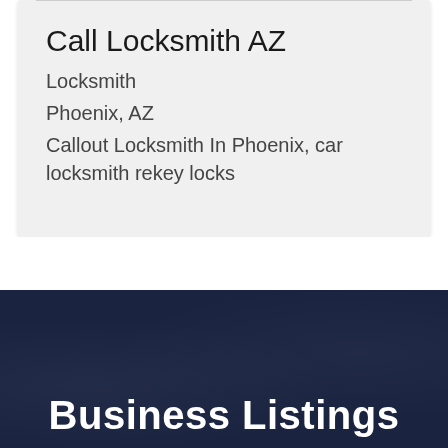Call Locksmith AZ
Locksmith
Phoenix, AZ
Callout Locksmith In Phoenix, car locksmith rekey locks
Business Listings